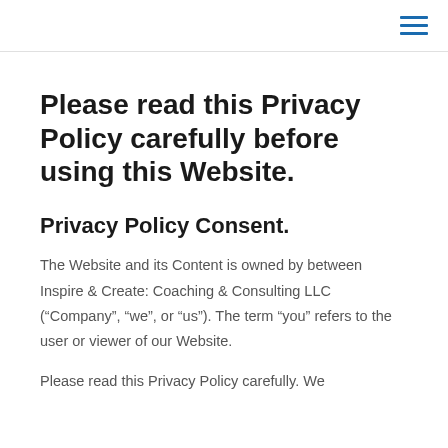[hamburger menu icon]
Please read this Privacy Policy carefully before using this Website.
Privacy Policy Consent.
The Website and its Content is owned by between Inspire & Create: Coaching & Consulting LLC (“Company”, “we”, or “us”). The term “you” refers to the user or viewer of our Website.
Please read this Privacy Policy carefully. We